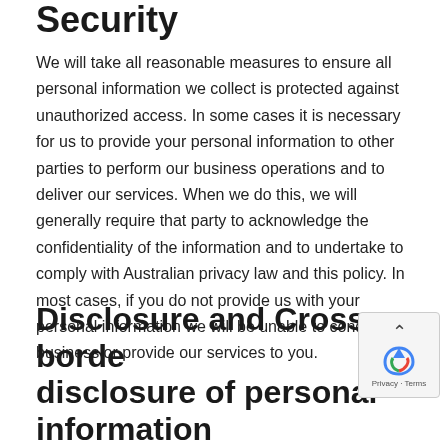Security
We will take all reasonable measures to ensure all personal information we collect is protected against unauthorized access. In some cases it is necessary for us to provide your personal information to other parties to perform our business operations and to deliver our services. When we do this, we will generally require that party to acknowledge the confidentiality of the information and to undertake to comply with Australian privacy law and this policy. In most cases, if you do not provide us with your personal information we will be unable to conduct business or provide our services to you.
Disclosure and Cross-border disclosure of personal information